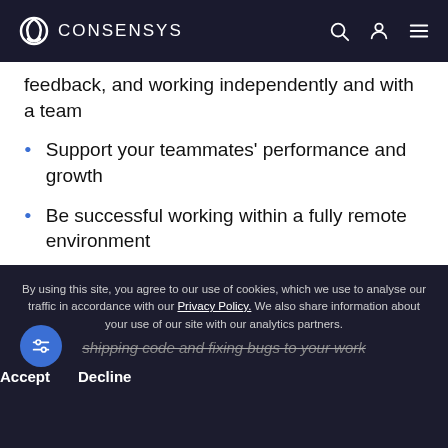CONSENSYS
feedback, and working independently and with a team
Support your teammates' performance and growth
Be successful working within a fully remote environment
Bring respect, patience, and empathy to every interaction and relationship with coworkers and the community
shipping code and fixing bugs to your work
By using this site, you agree to our use of cookies, which we use to analyse our traffic in accordance with our Privacy Policy. We also share information about your use of our site with our analytics partners.
Accept   Decline